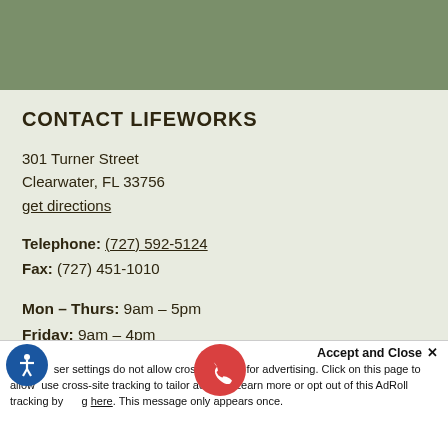[Figure (other): Olive/sage green header banner at top of page]
CONTACT LIFEWORKS
301 Turner Street
Clearwater, FL 33756
get directions
Telephone: (727) 592-5124
Fax: (727) 451-1010
Mon – Thurs: 9am – 5pm
Friday: 9am – 4pm
Your browser settings do not allow cross-site tracking for advertising. Click on this page to allow use cross-site tracking to tailor ads. Learn more or opt out of this AdRoll tracking by clicking here. This message only appears once.